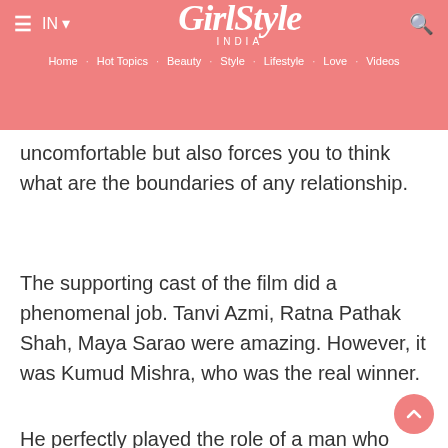GirlStyle INDIA — IN · Home · Hot Topics · Beauty · Style · Lifestyle · Love · Videos
uncomfortable but also forces you to think what are the boundaries of any relationship.
The supporting cast of the film did a phenomenal job. Tanvi Azmi, Ratna Pathak Shah, Maya Sarao were amazing. However, it was Kumud Mishra, who was the real winner.
He perfectly played the role of a man who couldn't